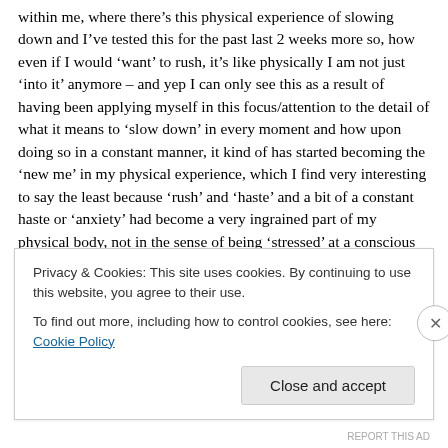within me, where there's this physical experience of slowing down and I've tested this for the past last 2 weeks more so, how even if I would 'want' to rush, it's like physically I am not just 'into it' anymore – and yep I can only see this as a result of having been applying myself in this focus/attention to the detail of what it means to 'slow down' in every moment and how upon doing so in a constant manner, it kind of has started becoming the 'new me' in my physical experience, which I find very interesting to say the least because 'rush' and 'haste' and a bit of a constant haste or 'anxiety' had become a very ingrained part of my physical body, not in the sense of being 'stressed' at a conscious manner, but more at a physical tension level that I thought was 'the normal me', and now I'm realizing that there is possibility to in fact be in the moment and 'slow down' at an internal and so external level and how that changes the way that I approach not
Privacy & Cookies: This site uses cookies. By continuing to use this website, you agree to their use.
To find out more, including how to control cookies, see here: Cookie Policy
Close and accept